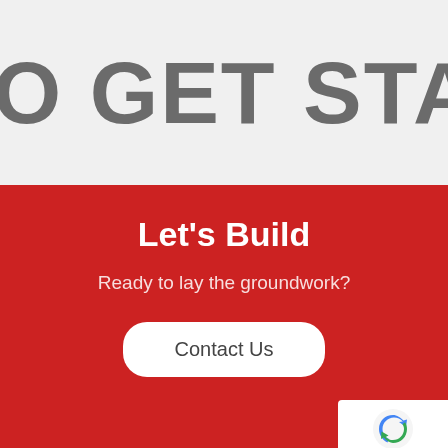DY TO GET STARTED
Let's Build
Ready to lay the groundwork?
Contact Us
[Figure (logo): reCAPTCHA badge with blue arrow icon and Privacy · Terms text]